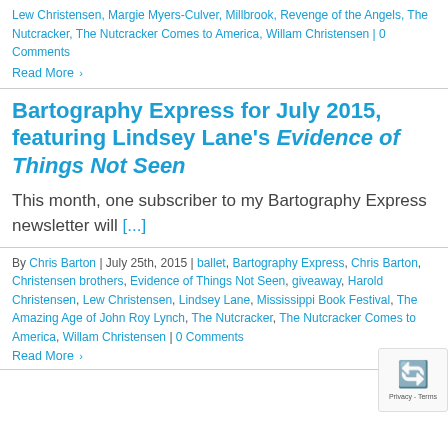Lew Christensen, Margie Myers-Culver, Millbrook, Revenge of the Angels, The Nutcracker, The Nutcracker Comes to America, Willam Christensen | 0 Comments
Read More >
Bartography Express for July 2015, featuring Lindsey Lane's Evidence of Things Not Seen
This month, one subscriber to my Bartography Express newsletter will [...]
By Chris Barton | July 25th, 2015 | ballet, Bartography Express, Chris Barton, Christensen brothers, Evidence of Things Not Seen, giveaway, Harold Christensen, Lew Christensen, Lindsey Lane, Mississippi Book Festival, The Amazing Age of John Roy Lynch, The Nutcracker, The Nutcracker Comes to America, Willam Christensen | 0 Comments
Read More >